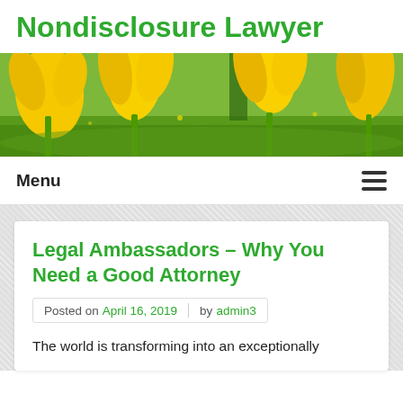Nondisclosure Lawyer
[Figure (photo): A banner photograph of bright yellow tulips in bloom against a green grassy background.]
Menu
Legal Ambassadors – Why You Need a Good Attorney
Posted on April 16, 2019 by admin3
The world is transforming into an exceptionally